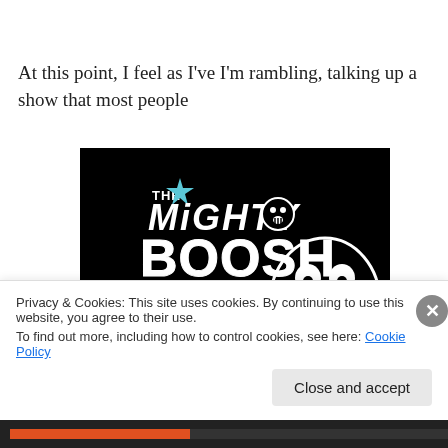At this point, I feel as I've I'm rambling, talking up a show that most people
[Figure (illustration): The Mighty Boosh TV show logo and artwork on a black background, featuring the show's stylized text logo with a skull face character, and cartoon skeleton-like creatures along the bottom.]
Privacy & Cookies: This site uses cookies. By continuing to use this website, you agree to their use.
To find out more, including how to control cookies, see here: Cookie Policy

Close and accept